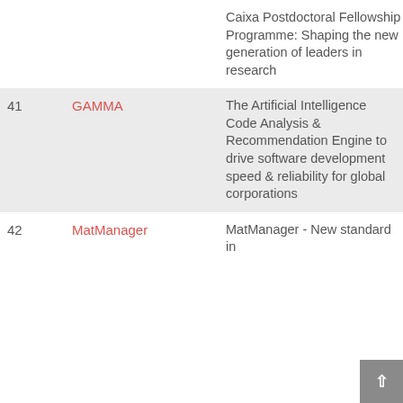| # | Name | Description | Year |
| --- | --- | --- | --- |
|  |  | Caixa Postdoctoral Fellowship Programme: Shaping the new generation of leaders in research |  |
| 41 | GAMMA | The Artificial Intelligence Code Analysis & Recommendation Engine to drive software development speed & reliability for global corporations | 2019 |
| 42 | MatManager | MatManager - New standard in | 2019 |